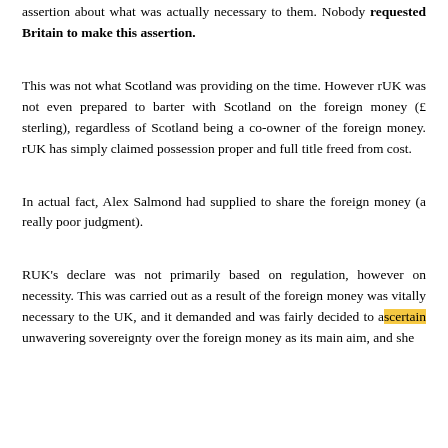assertion about what was actually necessary to them. Nobody requested Britain to make this assertion.
This was not what Scotland was providing on the time. However rUK was not even prepared to barter with Scotland on the foreign money (£ sterling), regardless of Scotland being a co-owner of the foreign money. rUK has simply claimed possession proper and full title freed from cost.
In actual fact, Alex Salmond had supplied to share the foreign money (a really poor judgment).
RUK's declare was not primarily based on regulation, however on necessity. This was carried out as a result of the foreign money was vitally necessary to the UK, and it demanded and was fairly decided to ascertain unwavering sovereignty over the foreign money as its main aim, and she